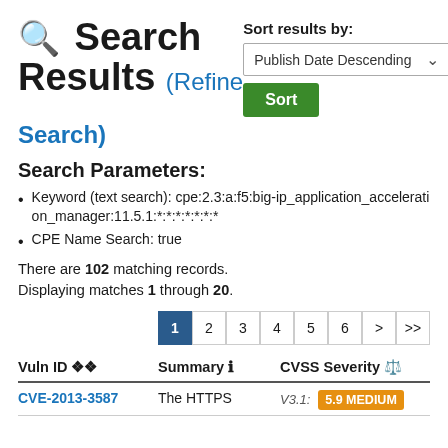🔍 Search Results (Refine Search)
Sort results by: Publish Date Descending [Sort]
Search Parameters:
Keyword (text search): cpe:2.3:a:f5:big-ip_application_acceleration_manager:11.5.1:*:*:*:*:*:*:*
CPE Name Search: true
There are 102 matching records. Displaying matches 1 through 20.
Pagination: 1 2 3 4 5 6 > >>
| Vuln ID | Summary | CVSS Severity |
| --- | --- | --- |
| CVE-2013-3587 | The HTTPS | V3.1: 5.9 MEDIUM |